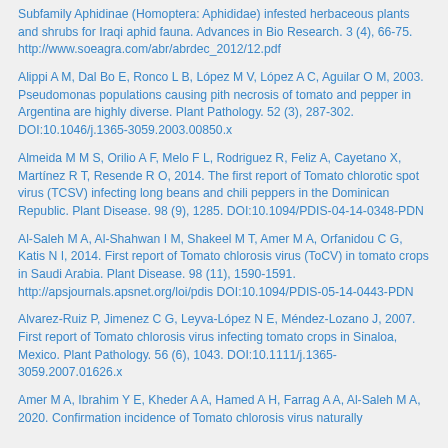Subfamily Aphidinae (Homoptera: Aphididae) infested herbaceous plants and shrubs for Iraqi aphid fauna. Advances in Bio Research. 3 (4), 66-75. http://www.soeagra.com/abr/abrdec_2012/12.pdf
Alippi A M, Dal Bo E, Ronco L B, López M V, López A C, Aguilar O M, 2003. Pseudomonas populations causing pith necrosis of tomato and pepper in Argentina are highly diverse. Plant Pathology. 52 (3), 287-302. DOI:10.1046/j.1365-3059.2003.00850.x
Almeida M M S, Orilio A F, Melo F L, Rodriguez R, Feliz A, Cayetano X, Martínez R T, Resende R O, 2014. The first report of Tomato chlorotic spot virus (TCSV) infecting long beans and chili peppers in the Dominican Republic. Plant Disease. 98 (9), 1285. DOI:10.1094/PDIS-04-14-0348-PDN
Al-Saleh M A, Al-Shahwan I M, Shakeel M T, Amer M A, Orfanidou C G, Katis N I, 2014. First report of Tomato chlorosis virus (ToCV) in tomato crops in Saudi Arabia. Plant Disease. 98 (11), 1590-1591. http://apsjournals.apsnet.org/loi/pdis DOI:10.1094/PDIS-05-14-0443-PDN
Alvarez-Ruiz P, Jimenez C G, Leyva-López N E, Méndez-Lozano J, 2007. First report of Tomato chlorosis virus infecting tomato crops in Sinaloa, Mexico. Plant Pathology. 56 (6), 1043. DOI:10.1111/j.1365-3059.2007.01626.x
Amer M A, Ibrahim Y E, Kheder A A, Hamed A H, Farrag A A, Al-Saleh M A, 2020. Confirmation incidence of Tomato chlorosis virus naturally